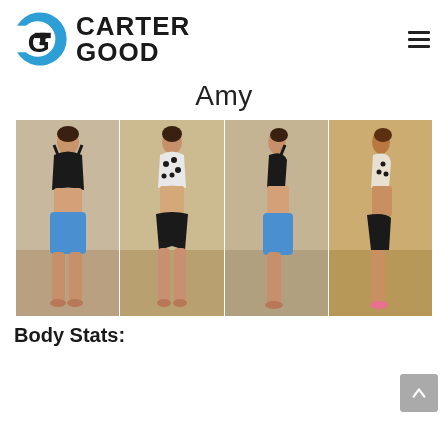Carter Good
Amy
[Figure (photo): Before and after fitness transformation photos of Amy showing front and side views in two sets]
Body Stats: